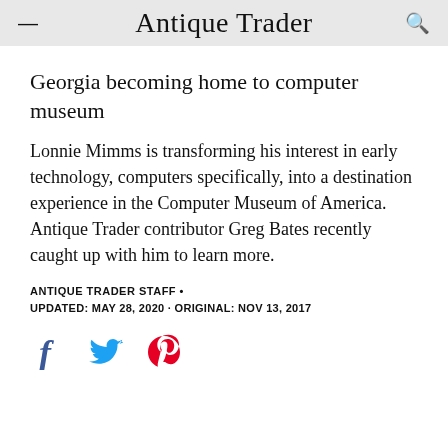Antique Trader
Georgia becoming home to computer museum
Lonnie Mimms is transforming his interest in early technology, computers specifically, into a destination experience in the Computer Museum of America. Antique Trader contributor Greg Bates recently caught up with him to learn more.
ANTIQUE TRADER STAFF •
UPDATED: MAY 28, 2020 · ORIGINAL: NOV 13, 2017
[Figure (other): Social share icons: Facebook (blue f), Twitter (blue bird), Pinterest (red P)]